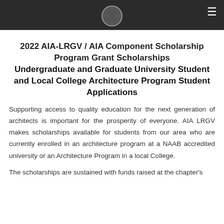≡
2022 AIA-LRGV / AIA Component Scholarship Program Grant Scholarships Undergraduate and Graduate University Student and Local College Architecture Program Student Applications
Supporting access to quality education for the next generation of architects is important for the prosperity of everyone. AIA LRGV makes scholarships available for students from our area who are currently enrolled in an architecture program at a NAAB accredited university or an Architecture Program in a local College.
The scholarships are sustained with funds raised at the chapter's